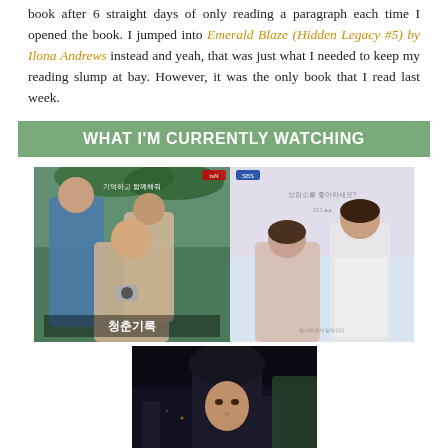book after 6 straight days of only reading a paragraph each time I opened the book. I jumped into Emerald Blaze (Hidden Legacy #5) by Ilona Andrews instead and yeah, that was just what I needed to keep my reading slump at bay. However, it was the only book that I read last week.
WHAT I'M CURRENTLY WATCHING
[Figure (photo): Two Korean drama posters side by side. Left poster shows three young people (two men and a woman holding a camera) with Korean text '청춘기록' (Record of Youth). Right poster shows a man and woman back-to-back with soft pink/blue background and Korean text.]
[Figure (photo): Bottom Korean drama poster showing a person in a dark hoodie against a dark city night background.]